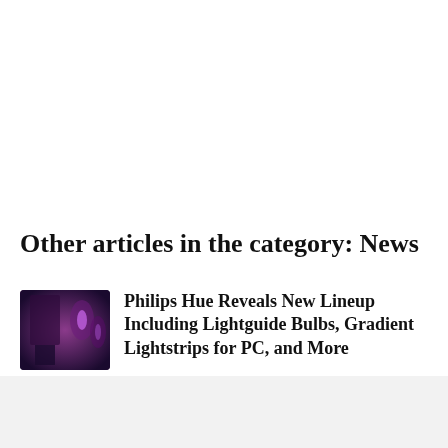Other articles in the category: News
[Figure (photo): Thumbnail image of Philips Hue smart lights in a purple-lit room]
Philips Hue Reveals New Lineup Including Lightguide Bulbs, Gradient Lightstrips for PC, and More
Steve Vegvari  2 hours ago
[Figure (photo): Thumbnail image of iPhone 14 Pro with pill-shaped cutout]
iPhone 14 Pro 'Pill' Cutout to Show Orange/Green Indicators: Came... App